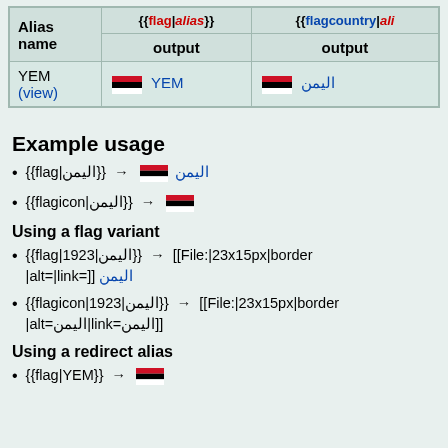| Alias name | {{flag|alias}} output | {{flagcountry|ali… output |
| --- | --- | --- |
| YEM (view) | 🏳 YEM | 🏳 اليمن |
Example usage
{{flag|اليمن}} → 🏳 اليمن
{{flagicon|اليمن}} → 🏳
Using a flag variant
{{flag|اليمن|1923}} → [[File:|23x15px|border|alt=|link=]] اليمن
{{flagicon|اليمن|1923}} → [[File:|23x15px|border|alt=اليمن|link=اليمن]]
Using a redirect alias
{{flag|YEM}} → 🏳